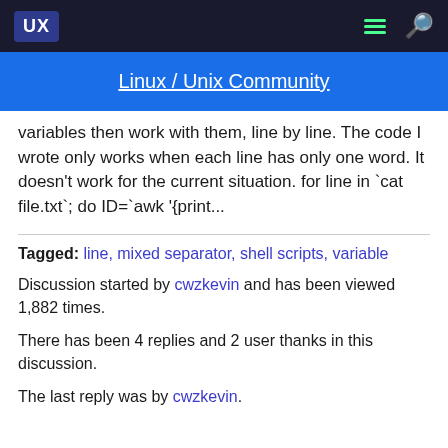UX
Linux / Unix Community
variables then work with them, line by line. The code I wrote only works when each line has only one word. It doesn't work for the current situation. for line in `cat file.txt`; do ID=`awk '{print...
Tagged: line, mixed separator, shell scripts, variable
Discussion started by cwzkevin and has been viewed 1,882 times.
There has been 4 replies and 2 user thanks in this discussion.
The last reply was by cwzkevin.